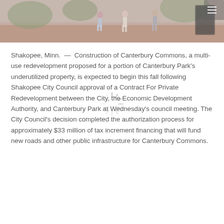[Figure (photo): Outdoor photo showing people at Canterbury Park, brick/terracotta ground, trees and greenery in background, figures walking, warm tones. A loading/spinner overlay is visible in the center of the image.]
Shakopee, Minn. — Construction of Canterbury Commons, a multi-use redevelopment proposed for a portion of Canterbury Park's underutilized property, is expected to begin this fall following Shakopee City Council approval of a Contract For Private Redevelopment between the City, the Economic Development Authority, and Canterbury Park at Wednesday's council meeting. The City Council's decision completed the authorization process for approximately $33 million of tax increment financing that will fund new roads and other public infrastructure for Canterbury Commons.